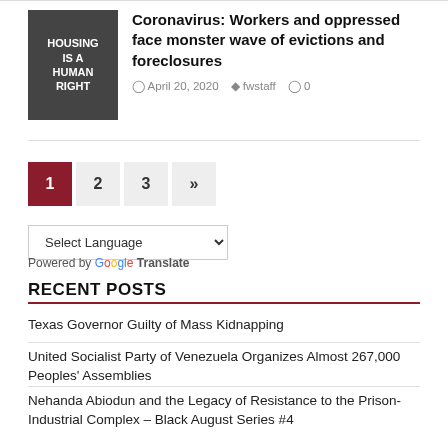[Figure (photo): Sign reading HOUSING IS A HUMAN RIGHT]
Coronavirus: Workers and oppressed face monster wave of evictions and foreclosures
April 20, 2020  fwstaff  0
1
2
3
»
Select Language
Powered by Google Translate
RECENT POSTS
Texas Governor Guilty of Mass Kidnapping
United Socialist Party of Venezuela Organizes Almost 267,000 Peoples' Assemblies
Nehanda Abiodun and the Legacy of Resistance to the Prison-Industrial Complex – Black August Series #4